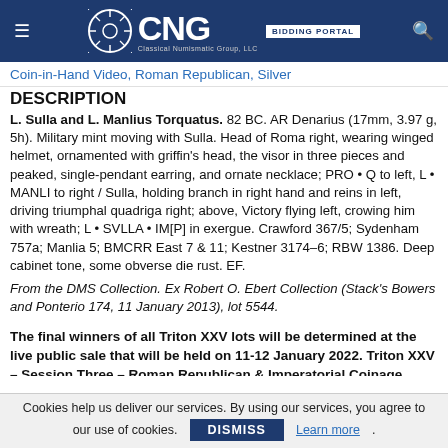CNG BIDDING PORTAL
Coin-in-Hand Video, Roman Republican, Silver
DESCRIPTION
L. Sulla and L. Manlius Torquatus. 82 BC. AR Denarius (17mm, 3.97 g, 5h). Military mint moving with Sulla. Head of Roma right, wearing winged helmet, ornamented with griffin's head, the visor in three pieces and peaked, single-pendant earring, and ornate necklace; PRO • Q to left, L • MANLI to right / Sulla, holding branch in right hand and reins in left, driving triumphal quadriga right; above, Victory flying left, crowing him with wreath; L • SVLLA • IM[P] in exergue. Crawford 367/5; Sydenham 757a; Manlia 5; BMCRR East 7 & 11; Kestner 3174–6; RBW 1386. Deep cabinet tone, some obverse die rust. EF.
From the DMS Collection. Ex Robert O. Ebert Collection (Stack's Bowers and Ponterio 174, 11 January 2013), lot 5544.
The final winners of all Triton XXV lots will be determined at the live public sale that will be held on 11-12 January 2022. Triton XXV – Session Three – Roman Republican & Imperatorial Coinage
Cookies help us deliver our services. By using our services, you agree to our use of cookies. DISMISS Learn more.